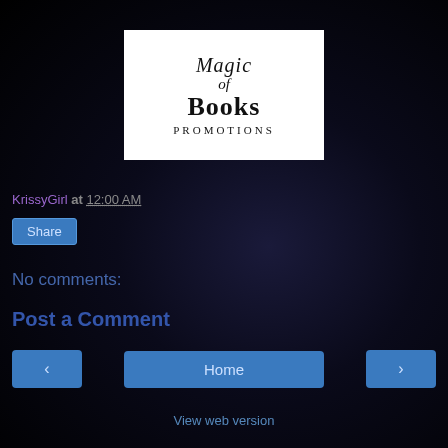[Figure (logo): Magic of Books Promotions logo — white rectangle with decorative serif text reading 'Magic of Books Promotions']
KryssyGirl at 12:00 AM
Share
No comments:
Post a Comment
< Home >
View web version